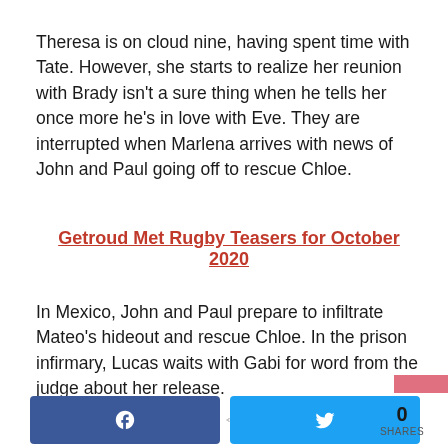Theresa is on cloud nine, having spent time with Tate. However, she starts to realize her reunion with Brady isn't a sure thing when he tells her once more he's in love with Eve. They are interrupted when Marlena arrives with news of John and Paul going off to rescue Chloe.
Getroud Met Rugby Teasers for October 2020
In Mexico, John and Paul prepare to infiltrate Mateo's hideout and rescue Chloe. In the prison infirmary, Lucas waits with Gabi for word from the judge about her release.